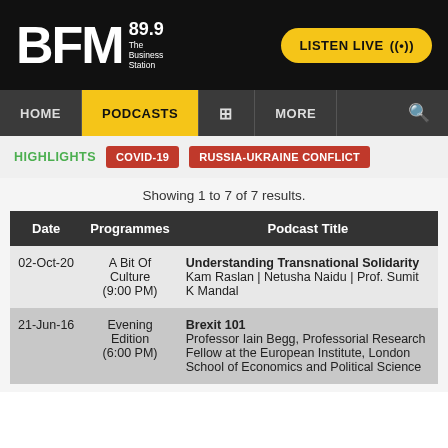[Figure (logo): BFM 89.9 The Business Station logo on black background with LISTEN LIVE button]
HOME | PODCASTS | MORE
HIGHLIGHTS  COVID-19  RUSSIA-UKRAINE CONFLICT
Showing 1 to 7 of 7 results.
| Date | Programmes | Podcast Title |
| --- | --- | --- |
| 02-Oct-20 | A Bit Of Culture (9:00 PM) | Understanding Transnational Solidarity
Kam Raslan | Netusha Naidu | Prof. Sumit K Mandal |
| 21-Jun-16 | Evening Edition (6:00 PM) | Brexit 101
Professor Iain Begg, Professorial Research Fellow at the European Institute, London School of Economics and Political Science |